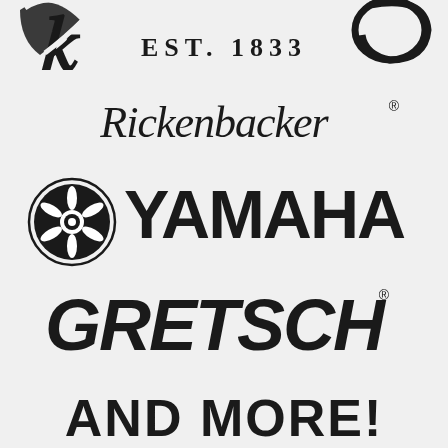[Figure (logo): Gibson logo with 'EST. 1833' text, partially cropped at top]
[Figure (logo): Rickenbacker script logo with registered trademark symbol]
[Figure (logo): Yamaha logo with tuning fork emblem circle and bold YAMAHA text]
[Figure (logo): Gretsch logo in bold italic condensed font with registered trademark symbol]
[Figure (logo): AND MORE! text in bold condensed font, partially cropped at bottom]